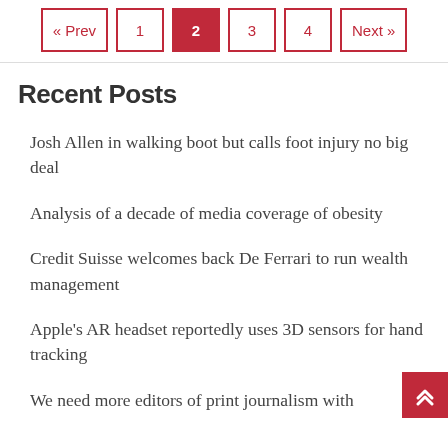« Prev  1  2  3  4  Next »
Recent Posts
Josh Allen in walking boot but calls foot injury no big deal
Analysis of a decade of media coverage of obesity
Credit Suisse welcomes back De Ferrari to run wealth management
Apple's AR headset reportedly uses 3D sensors for hand tracking
We need more editors of print journalism with…